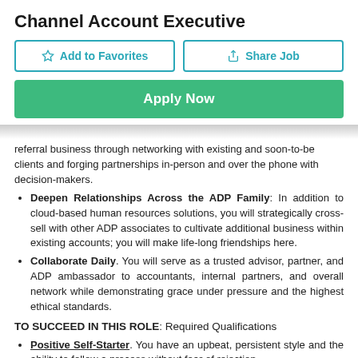Channel Account Executive
Add to Favorites | Share Job | Apply Now
referral business through networking with existing and soon-to-be clients and forging partnerships in-person and over the phone with decision-makers.
Deepen Relationships Across the ADP Family: In addition to cloud-based human resources solutions, you will strategically cross-sell with other ADP associates to cultivate additional business within existing accounts; you will make life-long friendships here.
Collaborate Daily. You will serve as a trusted advisor, partner, and ADP ambassador to accountants, internal partners, and overall network while demonstrating grace under pressure and the highest ethical standards.
TO SUCCEED IN THIS ROLE: Required Qualifications
Positive Self-Starter. You have an upbeat, persistent style and the ability to follow a process without fear of rejection.